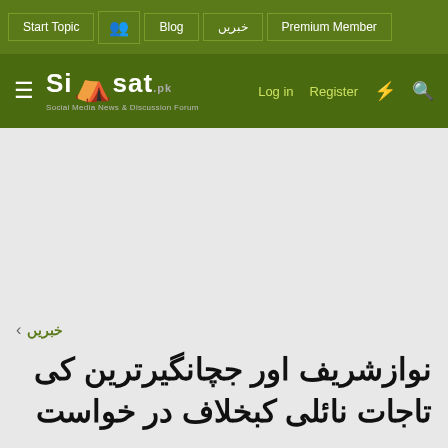Start Topic | Blog | خبریں | Premium Member
Siasat.pk — Social Media News & Discussion Forum | Log in | Register
خبریں
نوازشریف اور جاتیانگیرترین کی تاجات ناائلی کبخلاف در خواست